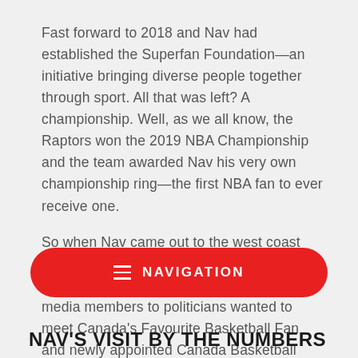Fast forward to 2018 and Nav had established the Superfan Foundation—an initiative bringing diverse people together through sport. All that was left? A championship. Well, as we all know, the Raptors won the 2019 NBA Championship and the team awarded Nav his very own championship ring—the first NBA fan to ever receive one.

So when Nav came out to the west coast this past January, it's no surprise that everyone from young basketball fans to media members to politicians wanted to meet Canada's Favourite Basketball Fan and newly appointed Canada Basketball Community Ambassador.
[Figure (other): Red rounded rectangle navigation button with hamburger menu icon and text NAVIGATION in white]
NAV'S VISIT BY THE NUMBERS